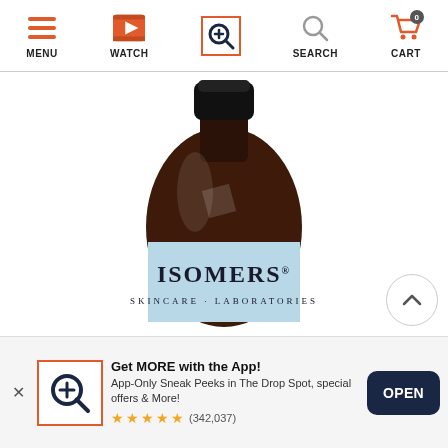[Figure (screenshot): Mobile app navigation bar with icons for MENU (hamburger), WATCH (play button), Q (search/Q icon, active with orange border), SEARCH (magnifying glass), CART (shopping cart with 0 badge)]
[Figure (photo): Product photo of an Isomers Skincare Laboratories bottle with dark amber glass body, black pump cap, and light blue label reading ISOMERS SKINCARE LABORATORIES]
Get MORE with the App! App-Only Sneak Peeks in The Drop Spot, special offers & More! ★★★★★ (342,037)